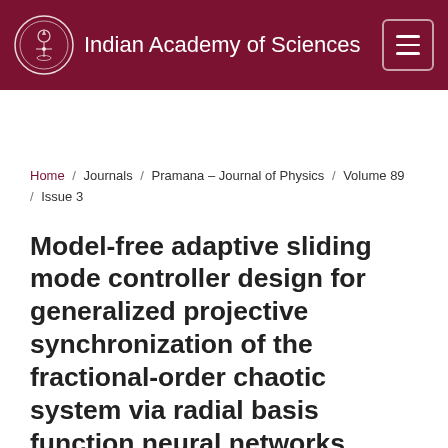Indian Academy of Sciences
Home / Journals / Pramana – Journal of Physics / Volume 89 / Issue 3
Model-free adaptive sliding mode controller design for generalized projective synchronization of the fractional-order chaotic system via radial basis function neural networks